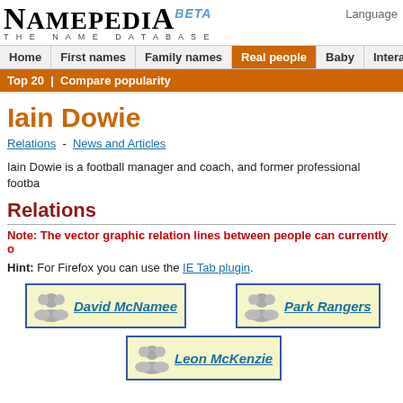Language
[Figure (logo): Namepedia logo with BETA tag and tagline THE NAME DATABASE]
Home | First names | Family names | Real people | Baby | Interactive | More
Top 20 | Compare popularity
Iain Dowie
Relations - News and Articles
Iain Dowie is a football manager and coach, and former professional footba
Relations
Note: The vector graphic relation lines between people can currently o
Hint: For Firefox you can use the IE Tab plugin.
David McNamee
Park Rangers
Leon McKenzie